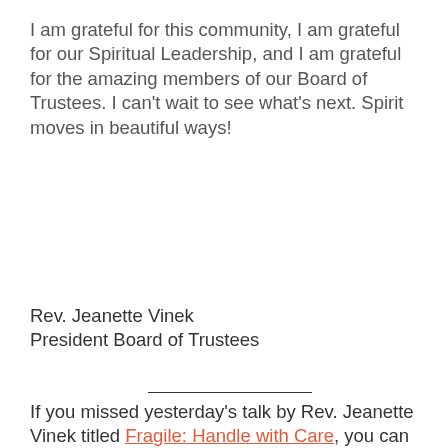I am grateful for this community, I am grateful for our Spiritual Leadership, and I am grateful for the amazing members of our Board of Trustees. I can't wait to see what's next. Spirit moves in beautiful ways!
Rev. Jeanette Vinek
President Board of Trustees
If you missed yesterday's talk by Rev. Jeanette Vinek titled Fragile: Handle with Care, you can watch it and other past services on the CSLK YouTube